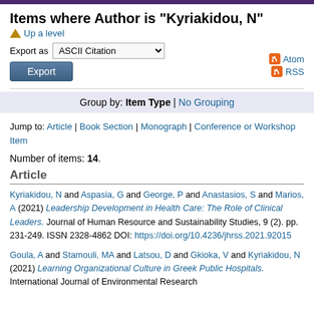Items where Author is "Kyriakidou, N"
Up a level
Export as ASCII Citation
Export
Atom
RSS
Group by: Item Type | No Grouping
Jump to: Article | Book Section | Monograph | Conference or Workshop Item
Number of items: 14.
Article
Kyriakidou, N and Aspasia, G and George, P and Anastasios, S and Marios, A (2021) Leadership Development in Health Care: The Role of Clinical Leaders. Journal of Human Resource and Sustainability Studies, 9 (2). pp. 231-249. ISSN 2328-4862 DOI: https://doi.org/10.4236/jhrss.2021.92015
Goula, A and Stamouli, MA and Latsou, D and Gkioka, V and Kyriakidou, N (2021) Learning Organizational Culture in Greek Public Hospitals. International Journal of Environmental Research...